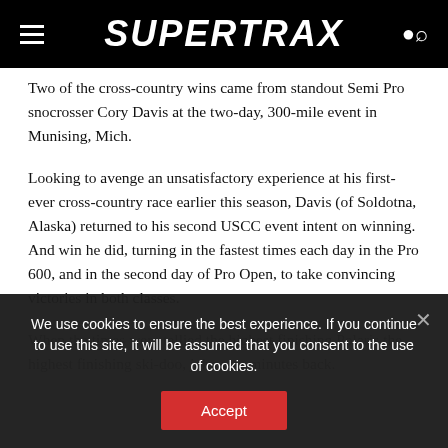SUPERTRAX
Two of the cross-country wins came from standout Semi Pro snocrosser Cory Davis at the two-day, 300-mile event in Munising, Mich.
Looking to avenge an unsatisfactory experience at his first-ever cross-country race earlier this season, Davis (of Soldotna, Alaska) returned to his second USCC event intent on winning. And win he did, turning in the fastest times each day in the Pro 600, and in the second day of Pro Open, to take convincing victories in both classes.
When the times were tallied the highest finishing Polaris the highest finishing ski-doo, john was minutes back.
We use cookies to ensure the best experience. If you continue to use this site, it will be assumed that you consent to the use of cookies.